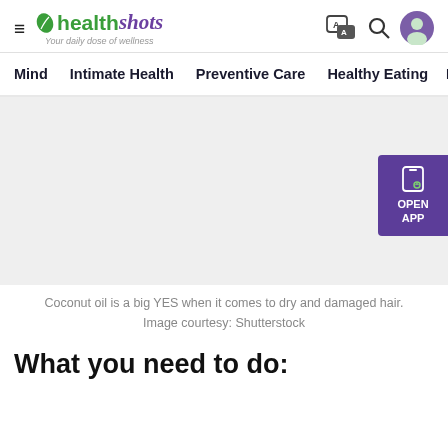healthshots — Your daily dose of wellness
Mind   Intimate Health   Preventive Care   Healthy Eating   F
[Figure (photo): Large image area showing coconut oil / hair content (image not fully visible), with an OPEN APP button on the right side in purple.]
Coconut oil is a big YES when it comes to dry and damaged hair. Image courtesy: Shutterstock
What you need to do: